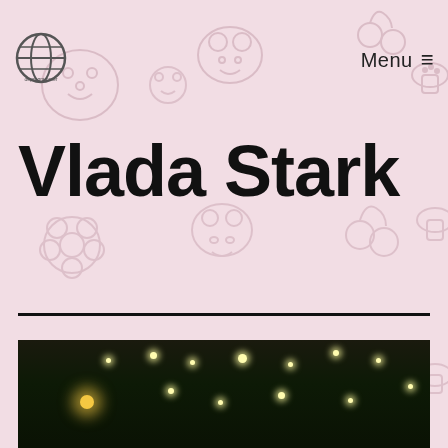[Figure (logo): Globe icon logo in top-left corner]
Menu ☰
Vlada Stark
[Figure (photo): Nighttime outdoor photo with light bokeh dots on dark green/black background, partially visible at bottom of page]